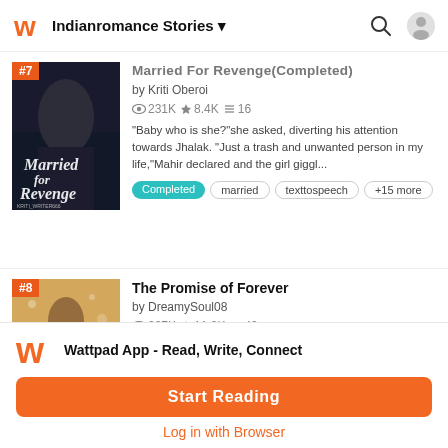Indianromance Stories
#7 Married For Revenge(Completed)
by Kriti Oberoi
231K ★ 8.4K ≡ 16
"Baby who is she?"she asked, diverting his attention towards Jhalak. "Just a trash and unwanted person in my life,"Mahir declared and the girl giggl...
Completed  married  texttospeech  +15 more
#8 The Promise of Forever
by DreamySoul08
207K ★ 11.2K ≡ 42
Wattpad App - Read, Write, Connect
Start Reading
Log in with Browser